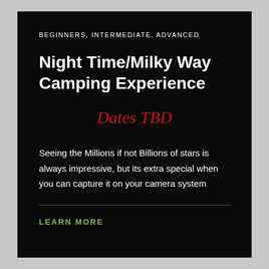BEGINNERS, INTERMEDIATE, ADVANCED
Night Time/Milky Way Camping Experience
Dates TBD
Seeing the Millions if not Billions of stars is always impressive, but its extra special when you can capture it on your camera system
LEARN MORE